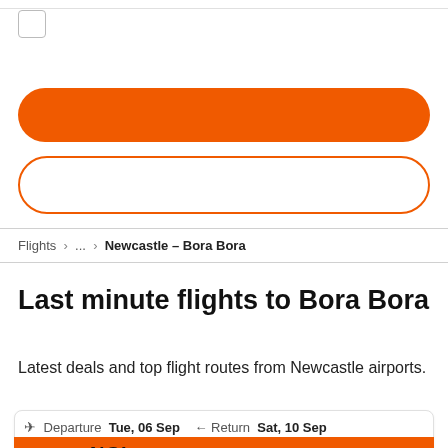[Figure (screenshot): Checkbox UI element in top left corner]
[Figure (screenshot): Orange filled rounded button (search/action button)]
[Figure (screenshot): Orange outline rounded button (secondary action)]
Flights > ... > Newcastle – Bora Bora
Last minute flights to Bora Bora
Latest deals and top flight routes from Newcastle airports.
✈ Departure  Tue, 06 Sep  ← Return  Sat, 10 Sep
NCL  Newcastle